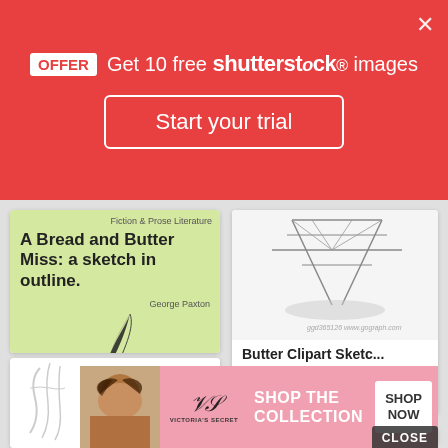OFFER  Get 10 free shutterstock images
Start your trial
[Figure (illustration): Book cover with light green background showing title 'A Bread and Butter Miss: a sketch in outline.' by George Paxton, with a feather quill illustration]
Buy A Bread And Butt...
384x499
0
0
[Figure (illustration): Vintage sketch/clipart of a wooden structure or bridge support, labeled 'Butter Clipart Sketc...' from gograph.com]
Butter Clipart Sketc...
450x429
0
0
[Figure (illustration): Partial sketch/outline illustration of an anime-style character with a small creature, partially visible]
CLOSE
[Figure (photo): Victoria's Secret advertisement banner with woman photo, VS logo, 'SHOP THE COLLECTION' text and 'SHOP NOW' button]